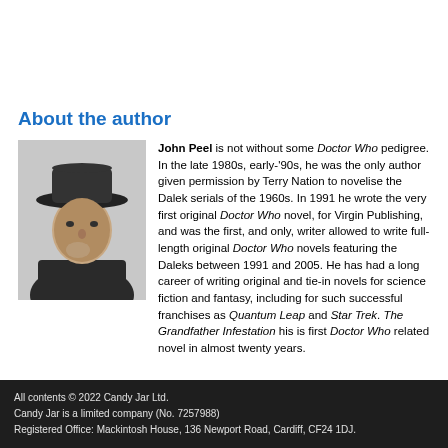About the author
[Figure (photo): Black and white photograph of John Peel, an older man wearing a wide-brimmed hat, resting his chin on his hand.]
John Peel is not without some Doctor Who pedigree. In the late 1980s, early-'90s, he was the only author given permission by Terry Nation to novelise the Dalek serials of the 1960s. In 1991 he wrote the very first original Doctor Who novel, for Virgin Publishing, and was the first, and only, writer allowed to write full-length original Doctor Who novels featuring the Daleks between 1991 and 2005. He has had a long career of writing original and tie-in novels for science fiction and fantasy, including for such successful franchises as Quantum Leap and Star Trek. The Grandfather Infestation his is first Doctor Who related novel in almost twenty years.
All contents © 2022 Candy Jar Ltd.
Candy Jar is a limited company (No. 7257988)
Registered Office: Mackintosh House, 136 Newport Road, Cardiff, CF24 1DJ.